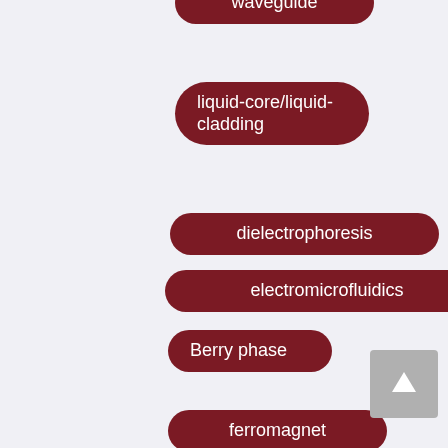waveguide
liquid-core/liquid-cladding
dielectrophoresis
electromicrofluidics
Berry phase
ferromagnet
metals
states
biodiversity
ecosystem